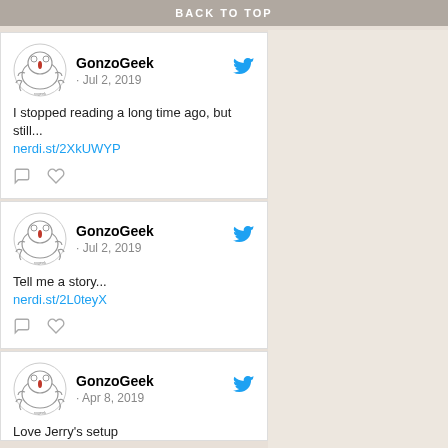BACK TO TOP
GonzoGeek · Jul 2, 2019
I stopped reading a long time ago, but still...
nerdi.st/2XkUWYP
GonzoGeek · Jul 2, 2019
Tell me a story...
nerdi.st/2L0teyX
GonzoGeek · Apr 8, 2019
Love Jerry's setup
#EastboundAndDown